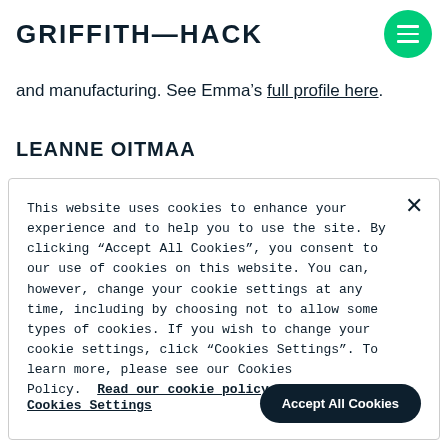GRIFFITH—HACK
and manufacturing. See Emma's full profile here.
LEANNE OITMAA
This website uses cookies to enhance your experience and to help you to use the site. By clicking “Accept All Cookies”, you consent to our use of cookies on this website. You can, however, change your cookie settings at any time, including by choosing not to allow some types of cookies. If you wish to change your cookie settings, click "Cookies Settings". To learn more, please see our Cookies Policy.  Read our cookie policy.
Cookies Settings
Accept All Cookies